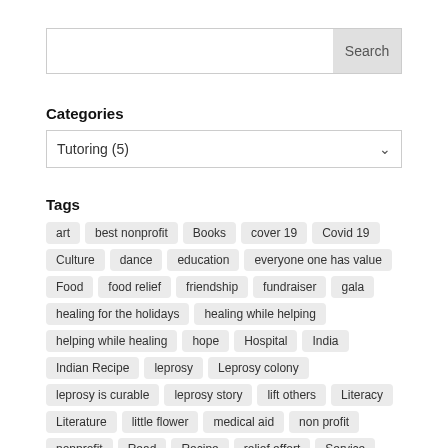[Figure (screenshot): Search bar with input field and Search button]
Categories
[Figure (screenshot): Dropdown selector showing Tutoring (5)]
Tags
art
best nonprofit
Books
cover 19
Covid 19
Culture
dance
education
everyone one has value
Food
food relief
friendship
fundraiser
gala
healing for the holidays
healing while helping
helping while healing
hope
Hospital
India
Indian Recipe
leprosy
Leprosy colony
leprosy is curable
leprosy story
lift others
Literacy
Literature
little flower
medical aid
non profit
nonprofit
Read
Recipe
relief effort
Service
social isolation
sponsorship
Stories
students